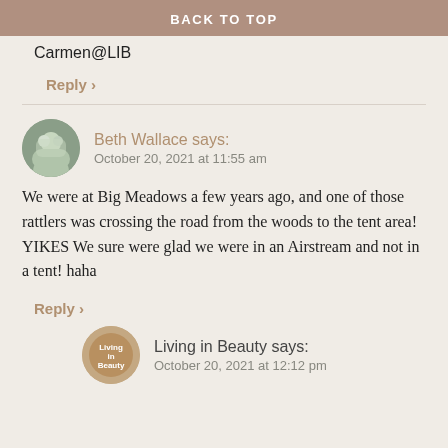BACK TO TOP
Carmen@LIB
Reply >
Beth Wallace says:
October 20, 2021 at 11:55 am
We were at Big Meadows a few years ago, and one of those rattlers was crossing the road from the woods to the tent area! YIKES We sure were glad we were in an Airstream and not in a tent! haha
Reply >
Living in Beauty says:
October 20, 2021 at 12:12 pm